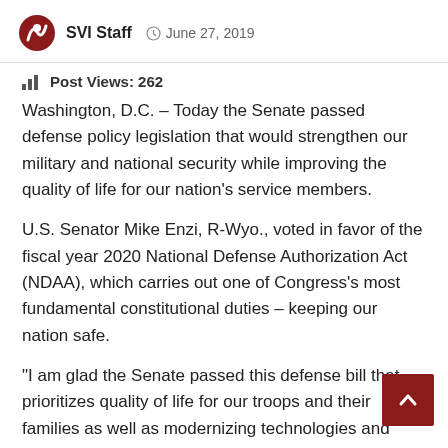SVI Staff  June 27, 2019
Post Views: 262
Washington, D.C. – Today the Senate passed defense policy legislation that would strengthen our military and national security while improving the quality of life for our nation's service members.
U.S. Senator Mike Enzi, R-Wyo., voted in favor of the fiscal year 2020 National Defense Authorization Act (NDAA), which carries out one of Congress's most fundamental constitutional duties – keeping our nation safe.
“I am glad the Senate passed this defense bill that prioritizes quality of life for our troops and their families as well as modernizing technologies and strengthening our allies,” Enzi said. “This bill is